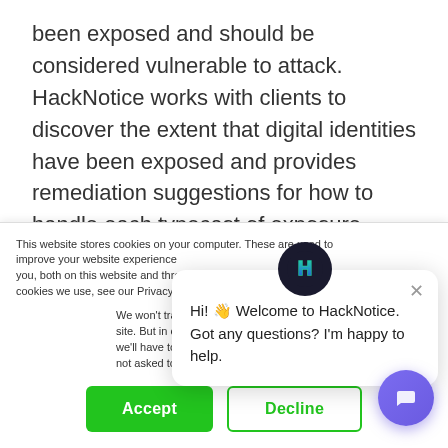been exposed and should be considered vulnerable to attack. HackNotice works with clients to discover the extent that digital identities have been exposed and provides remediation suggestions for how to handle each typecast of exposure.
HackNotice monitors the hacker community, which is a network of individuals that share data breaches,
This website stores cookies on your computer. These are used to improve your website experience you, both on this website and through cookies we use, see our Privacy P...
We won't track your site. But in order to c we'll have to use jus not asked to make this choice again.
Accept
Decline
Hi! 👋 Welcome to HackNotice. Got any questions? I'm happy to help.